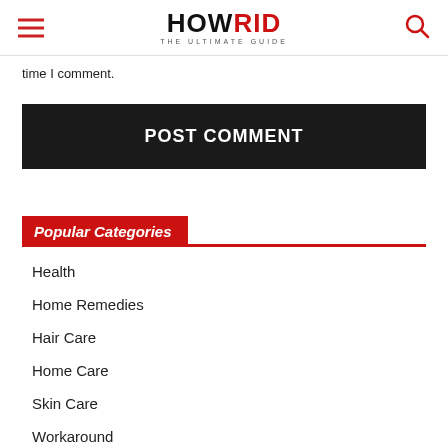HOWRID THE ULTIMATE GUIDE
time I comment.
POST COMMENT
Popular Categories
Health
Home Remedies
Hair Care
Home Care
Skin Care
Workaround